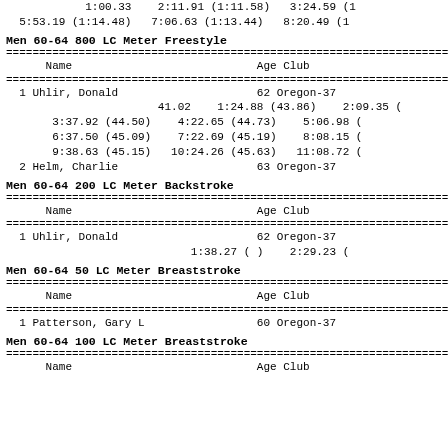1:00.33    2:11.91 (1:11.58)   3:24.59 (1
5:53.19 (1:14.48)   7:06.63 (1:13.44)   8:20.49 (1
Men 60-64 800 LC Meter Freestyle
| Name | Age | Club |  |
| --- | --- | --- | --- |
| 1 Uhlir, Donald | 62 | Oregon-37 | 12: |
| 41.02 | 1:24.88 (43.86) | 2:09.35 ( |  |  |
| 3:37.92 (44.50) | 4:22.65 (44.73) | 5:06.98 ( |  |  |
| 6:37.50 (45.09) | 7:22.69 (45.19) | 8:08.15 ( |  |  |
| 9:38.63 (45.15) | 10:24.26 (45.63) | 11:08.72 ( |  |  |
| 2 Helm, Charlie | 63 | Oregon-37 | 18: |
Men 60-64 200 LC Meter Backstroke
| Name | Age | Club |  |
| --- | --- | --- | --- |
| 1 Uhlir, Donald | 62 | Oregon-37 | 3: |
|  | 1:38.27 ( ) | 2:29.23 ( |  |
Men 60-64 50 LC Meter Breaststroke
| Name | Age | Club |  |
| --- | --- | --- | --- |
| 1 Patterson, Gary L | 60 | Oregon-37 | 3 |
Men 60-64 100 LC Meter Breaststroke
| Name | Age Club |  |
| --- | --- | --- |